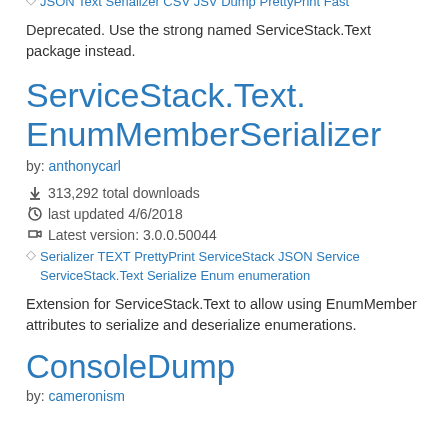JSON Text Serializer CSV JSV Dump PrettyPrint Fast
Deprecated. Use the strong named ServiceStack.Text package instead.
ServiceStack.Text.EnumMemberSerializer
by: anthonycarl
313,292 total downloads
last updated 4/6/2018
Latest version: 3.0.0.50044
Serializer TEXT PrettyPrint ServiceStack JSON Service ServiceStack.Text Serialize Enum enumeration
Extension for ServiceStack.Text to allow using EnumMember attributes to serialize and deserialize enumerations.
ConsoleDump
by: cameronism